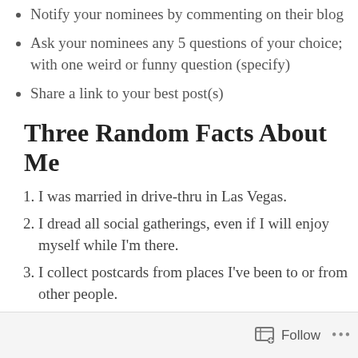Notify your nominees by commenting on their blog
Ask your nominees any 5 questions of your choice; with one weird or funny question (specify)
Share a link to your best post(s)
Three Random Facts About Me
I was married in drive-thru in Las Vegas.
I dread all social gatherings, even if I will enjoy myself while I'm there.
I collect postcards from places I've been to or from other people.
Follow ...